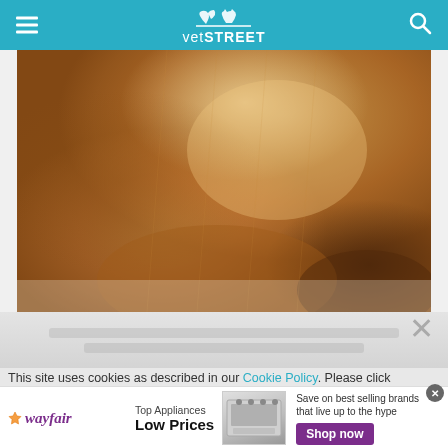vetSTREET
[Figure (photo): Close-up photo of a golden-colored dog's coat and ear, showing detailed fur texture in warm amber and golden tones]
This site uses cookies as described in our Cookie Policy. Please click
[Figure (infographic): Wayfair advertisement banner: Top Appliances Low Prices with image of stove and Shop now button]